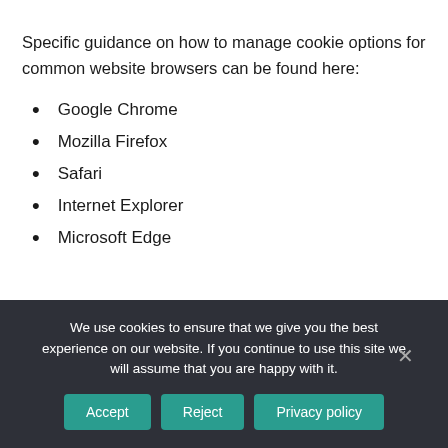Specific guidance on how to manage cookie options for common website browsers can be found here:
Google Chrome
Mozilla Firefox
Safari
Internet Explorer
Microsoft Edge
We use cookies to ensure that we give you the best experience on our website. If you continue to use this site we will assume that you are happy with it.